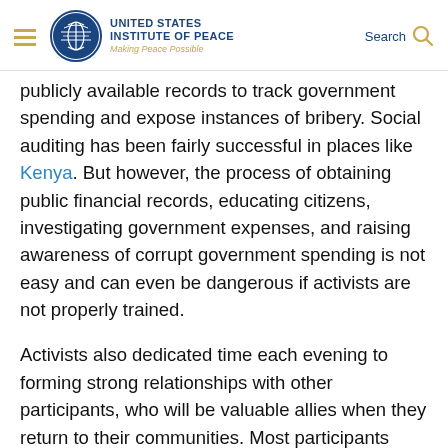United States Institute of Peace — Making Peace Possible | Search
publicly available records to track government spending and expose instances of bribery. Social auditing has been fairly successful in places like Kenya. But however, the process of obtaining public financial records, educating citizens, investigating government expenses, and raising awareness of corrupt government spending is not easy and can even be dangerous if activists are not properly trained.
Activists also dedicated time each evening to forming strong relationships with other participants, who will be valuable allies when they return to their communities. Most participants said this training was their first